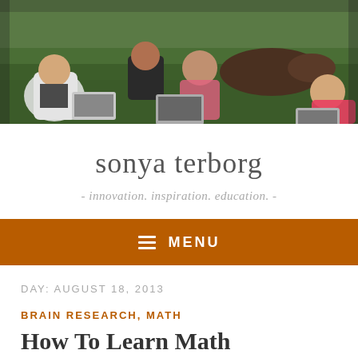[Figure (photo): Children sitting on grass outdoors with laptops, working together; a dog is also visible in the background on the right side.]
sonya terborg
- innovation. inspiration. education. -
≡ MENU
DAY: AUGUST 18, 2013
BRAIN RESEARCH, MATH
How To Learn Math